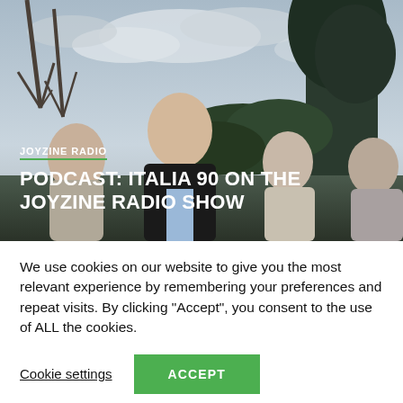[Figure (photo): Four young men standing outdoors in front of trees and a cloudy sky. The central figure is bald and wearing a black leather jacket over a light blue shirt. Others are visible behind and beside him.]
JOYZINE RADIO
PODCAST: ITALIA 90 ON THE JOYZINE RADIO SHOW
We use cookies on our website to give you the most relevant experience by remembering your preferences and repeat visits. By clicking “Accept”, you consent to the use of ALL the cookies.
Cookie settings
ACCEPT